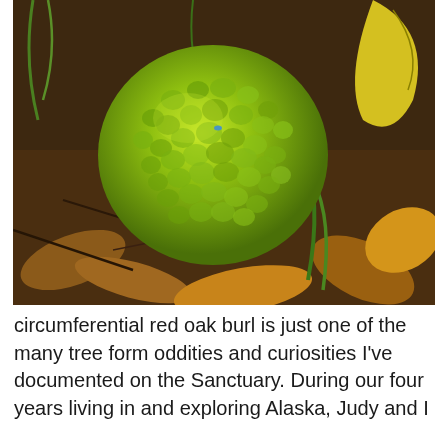[Figure (photo): Close-up photograph of a green, bumpy, brain-like red oak burl resting on a forest floor covered with fallen autumn leaves and twigs.]
circumferential red oak burl is just one of the many tree form oddities and curiosities I've documented on the Sanctuary. During our four years living in and exploring Alaska, Judy and I